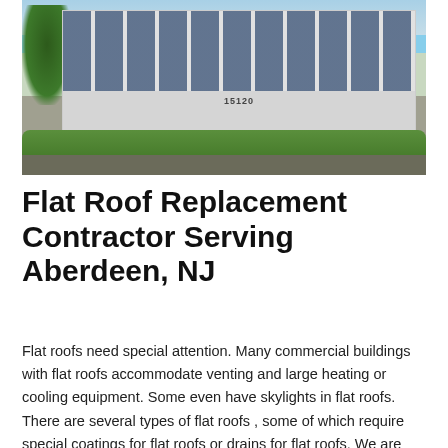[Figure (photo): Exterior photo of a modern commercial office building with glass windows, number 15120, surrounded by green trees and landscaping, blue sky in background.]
Flat Roof Replacement Contractor Serving Aberdeen, NJ
Flat roofs need special attention. Many commercial buildings with flat roofs accommodate venting and large heating or cooling equipment. Some even have skylights in flat roofs. There are several types of flat roofs , some of which require special coatings for flat roofs or drains for flat roofs. We are experts in flat roof designs.